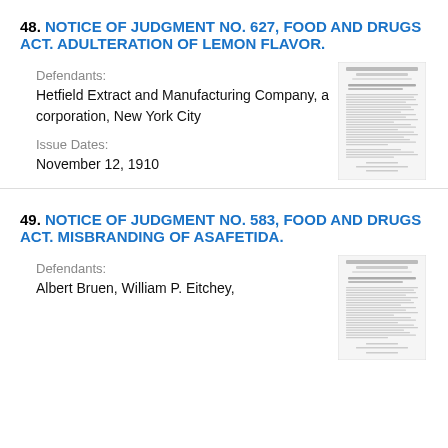48. NOTICE OF JUDGMENT NO. 627, FOOD AND DRUGS ACT. ADULTERATION OF LEMON FLAVOR.
Defendants:
Hetfield Extract and Manufacturing Company, a corporation, New York City
Issue Dates:
November 12, 1910
[Figure (screenshot): Thumbnail image of a government document page from the United States Department of Agriculture]
49. NOTICE OF JUDGMENT NO. 583, FOOD AND DRUGS ACT. MISBRANDING OF ASAFETIDA.
Defendants:
Albert Bruen, William P. Eitchey,
[Figure (screenshot): Thumbnail image of a government document page from the United States Department of Agriculture]